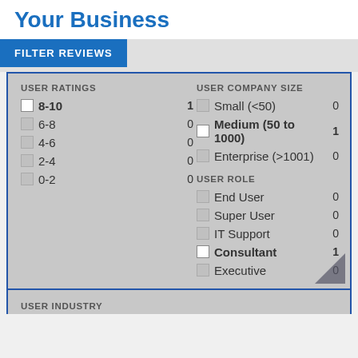Your Business
FILTER REVIEWS
| USER RATINGS | Count | USER COMPANY SIZE | Count |
| --- | --- | --- | --- |
| 8-10 (checked) | 1 | Small (<50) | 0 |
| 6-8 | 0 | Medium (50 to 1000) (checked) | 1 |
| 4-6 | 0 | Enterprise (>1001) | 0 |
| 2-4 | 0 |  |  |
| 0-2 | 0 |  |  |
| USER ROLE | Count |
| --- | --- |
| End User | 0 |
| Super User | 0 |
| IT Support | 0 |
| Consultant (checked) | 1 |
| Executive | 0 |
USER INDUSTRY